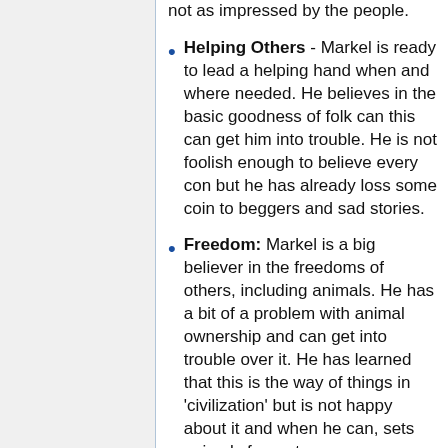not as impressed by the people.
Helping Others - Markel is ready to lead a helping hand when and where needed. He believes in the basic goodness of folk can this can get him into trouble. He is not foolish enough to believe every con but he has already loss some coin to beggers and sad stories.
Freedom: Markel is a big believer in the freedoms of others, including animals. He has a bit of a problem with animal ownership and can get into trouble over it. He has learned that this is the way of things in 'civilization' but is not happy about it and when he can, sets animals free, etc.
Personality